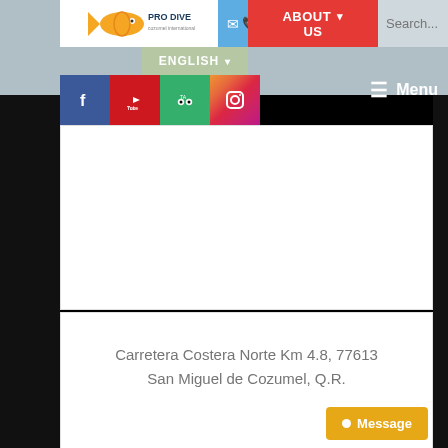[Figure (screenshot): Pro Dive website navigation bar with logo, About Us button, English language selector, social media icons (Facebook, YouTube, TripAdvisor, Instagram), hamburger Menu button, and search field]
Carretera Costera Norte Km 4.8, 77613 San Miguel de Cozumel, Q.R.